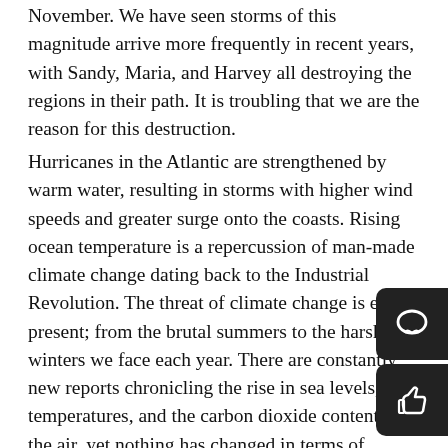November. We have seen storms of this magnitude arrive more frequently in recent years, with Sandy, Maria, and Harvey all destroying the regions in their path. It is troubling that we are the reason for this destruction.
Hurricanes in the Atlantic are strengthened by warm water, resulting in storms with higher wind speeds and greater surge onto the coasts. Rising ocean temperature is a repercussion of man-made climate change dating back to the Industrial Revolution. The threat of climate change is ever-present; from the brutal summers to the harsh winters we face each year. There are constantly new reports chronicling the rise in sea levels, temperatures, and the carbon dioxide content in the air, yet nothing has changed in terms of policy. The debate in the United States seems to center around the legitimacy of this research, despite the certainty of climate change.